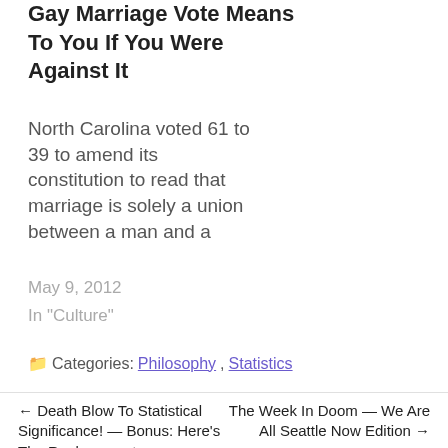Gay Marriage Vote Means To You If You Were Against It
North Carolina voted 61 to 39 to amend its constitution to read that marriage is solely a union between a man and a
May 9, 2012
In "Culture"
Categories: Philosophy, Statistics
← Death Blow To Statistical Significance! — Bonus: Here's The Replacement
The Week In Doom — We Are All Seattle Now Edition →
36 replies »